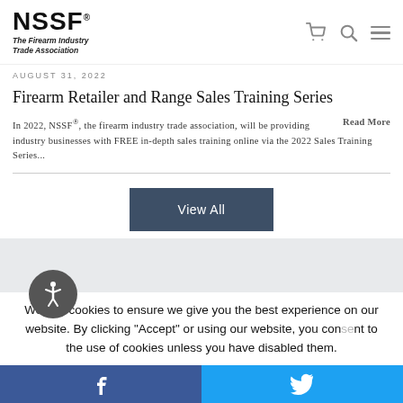NSSF The Firearm Industry Trade Association
AUGUST 31, 2022
Firearm Retailer and Range Sales Training Series
In 2022, NSSF®, the firearm industry trade association, will be providing industry businesses with FREE in-depth sales training online via the 2022 Sales Training Series... Read More
View All
We use cookies to ensure we give you the best experience on our website. By clicking "Accept" or using our website, you consent to the use of cookies unless you have disabled them.
Facebook | Twitter